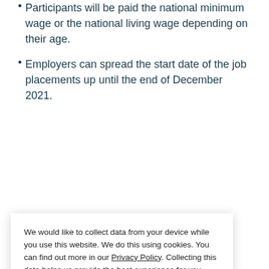Participants will be paid the national minimum wage or the national living wage depending on their age.
Employers can spread the start date of the job placements up until the end of December 2021.
We would like to collect data from your device while you use this website. We do this using cookies. You can find out more in our Privacy Policy. Collecting this data helps us provide the best experience for you. Please select 'Accept all' to consent to us collecting your data in this way. To see other data collection options, select 'Manage cookies'.
Manage cookies | Accept all
...is a £2.9 ...tment for ...es up to 12 ...who have ...s and may need additional support.